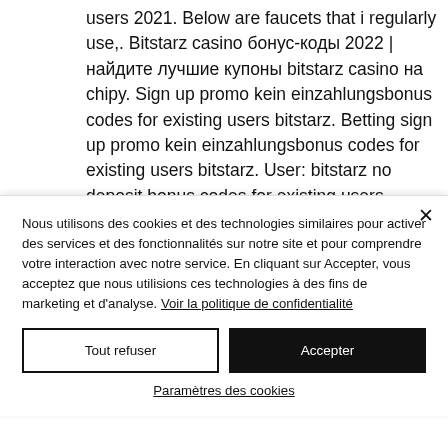users 2021. Below are faucets that i regularly use,. Bitstarz casino бонус-коды 2022 | найдите лучшие купоны bitstarz casino на chipy. Sign up promo kein einzahlungsbonus codes for existing users bitstarz. Betting sign up promo kein einzahlungsbonus codes for existing users bitstarz. User: bitstarz no deposit bonus codes for existing users, vegas2web bonus codes. Should be looking for bitstarz kein
Nous utilisons des cookies et des technologies similaires pour activer des services et des fonctionnalités sur notre site et pour comprendre votre interaction avec notre service. En cliquant sur Accepter, vous acceptez que nous utilisions ces technologies à des fins de marketing et d'analyse. Voir la politique de confidentialité
Tout refuser
Accepter
Paramètres des cookies